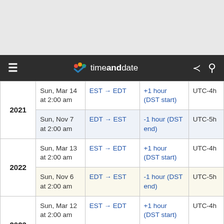[Figure (other): Top grey banner area of a web page]
timeanddate — navigation bar with hamburger menu, logo, share and search icons
| Year | Date & Time | Clock Change | Change Details | UTC Offset |
| --- | --- | --- | --- | --- |
| 2021 | Sun, Mar 14 at 2:00 am | EST → EDT | +1 hour (DST start) | UTC-4h |
|  | Sun, Nov 7 at 2:00 am | EDT → EST | -1 hour (DST end) | UTC-5h |
| 2022 | Sun, Mar 13 at 2:00 am | EST → EDT | +1 hour (DST start) | UTC-4h |
|  | Sun, Nov 6 at 2:00 am | EDT → EST | -1 hour (DST end) | UTC-5h |
| 2023 | Sun, Mar 12 at 2:00 am | EST → EDT | +1 hour (DST start) | UTC-4h |
|  | Sun, Nov 5 at 2:00 am | EDT → EST | -1 hour (DST end) | UTC-5h |
| 2024 | Sun, Mar 10 at 2:00 am | EST → EDT | +1 hour (DST start) | UTC-4h |